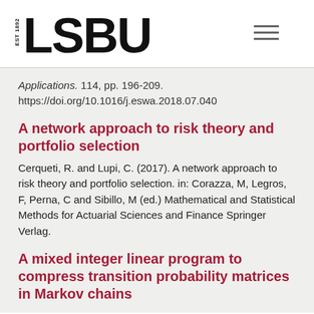[Figure (logo): LSBU logo with 'EST 1892' text and large bold LSBU wordmark]
Applications. 114, pp. 196-209. https://doi.org/10.1016/j.eswa.2018.07.040
A network approach to risk theory and portfolio selection
Cerqueti, R. and Lupi, C. (2017). A network approach to risk theory and portfolio selection. in: Corazza, M, Legros, F, Perna, C and Sibillo, M (ed.) Mathematical and Statistical Methods for Actuarial Sciences and Finance Springer Verlag.
A mixed integer linear program to compress transition probability matrices in Markov chains